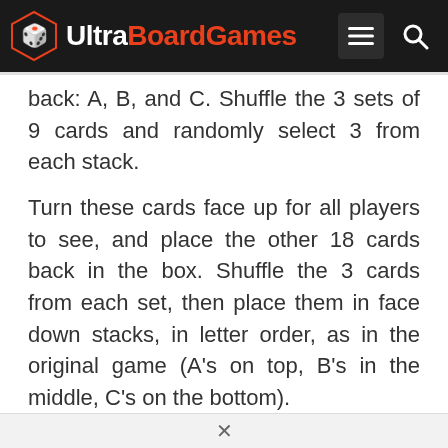UltraBoardGames
back: A, B, and C. Shuffle the 3 sets of 9 cards and randomly select 3 from each stack.
Turn these cards face up for all players to see, and place the other 18 cards back in the box. Shuffle the 3 cards from each set, then place them in face down stacks, in letter order, as in the original game (A's on top, B's in the middle, C's on the bottom).
←